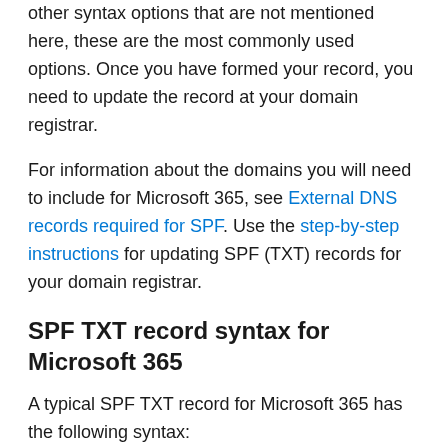other syntax options that are not mentioned here, these are the most commonly used options. Once you have formed your record, you need to update the record at your domain registrar.
For information about the domains you will need to include for Microsoft 365, see External DNS records required for SPF. Use the step-by-step instructions for updating SPF (TXT) records for your domain registrar.
SPF TXT record syntax for Microsoft 365
A typical SPF TXT record for Microsoft 365 has the following syntax:
| text | Copy |
| --- | --- |
| v=spf1 [<ip4>|<ip6>:<IP address>] [include:<doma |  |